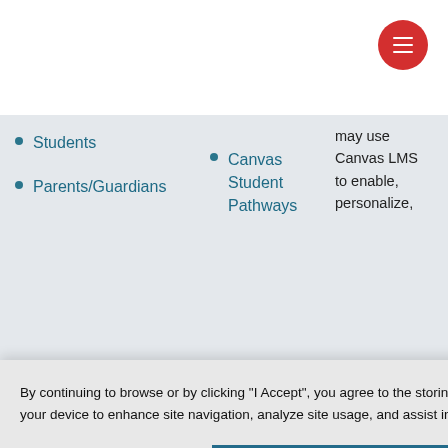[Figure (infographic): Red circular hamburger menu button in top right corner]
Students
Parents/Guardians
Canvas Student Pathways
may use Canvas LMS to enable, personalize,
gure
By continuing to browse or by clicking "I Accept", you agree to the storing of first- and third-party cookies on your device to enhance site navigation, analyze site usage, and assist in our marketing efforts Privacy Policy
I Accept
Cookies Settings
s and
use
MS
s and
can
deo
with
tudi